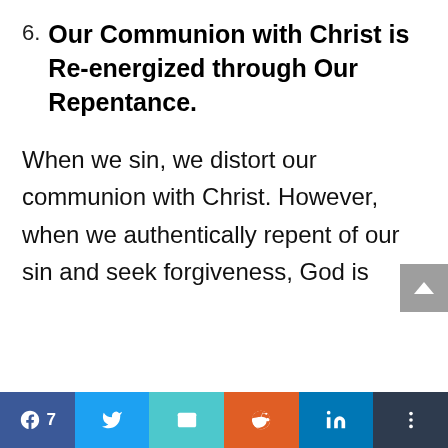6. Our Communion with Christ is Re-energized through Our Repentance.
When we sin, we distort our communion with Christ. However, when we authentically repent of our sin and seek forgiveness, God is